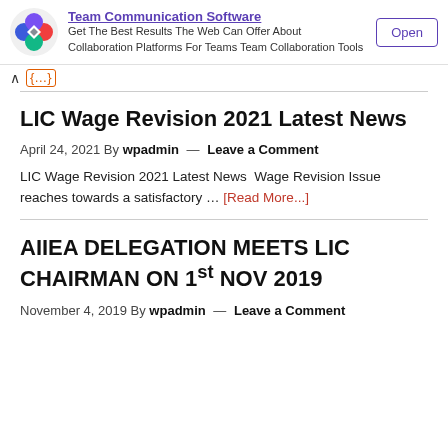[Figure (infographic): Advertisement banner with colorful logo for Team Communication Software. Text: Get The Best Results The Web Can Offer About Collaboration Platforms For Teams Team Collaboration Tools. Open button.]
LIC Wage Revision 2021 Latest News
April 24, 2021 By wpadmin — Leave a Comment
LIC Wage Revision 2021 Latest News  Wage Revision Issue reaches towards a satisfactory … [Read More...]
AIIEA DELEGATION MEETS LIC CHAIRMAN ON 1st NOV 2019
November 4, 2019 By wpadmin — Leave a Comment